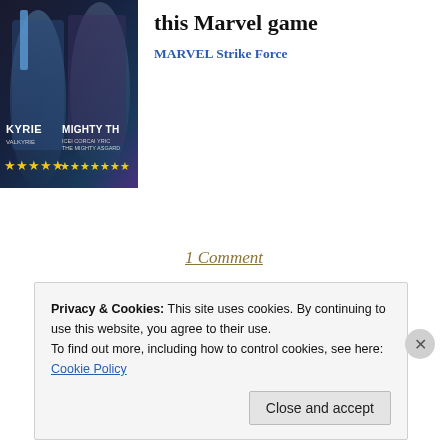[Figure (screenshot): Marvel Strike Force game promotional image showing two characters: Valkyrie on the left and Mighty Thor on the right, with yellow star ratings below each character]
this Marvel game
MARVEL Strike Force
1 Comment
[Figure (illustration): Decorative horizontal ornament divider with a centered diamond/dot cluster motif and thin lines extending to both sides]
Privacy & Cookies: This site uses cookies. By continuing to use this website, you agree to their use. To find out more, including how to control cookies, see here: Cookie Policy
Close and accept